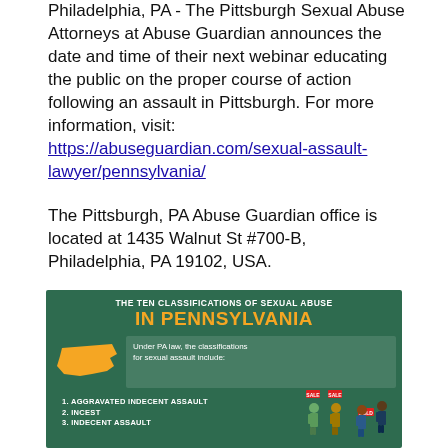Philadelphia, PA - The Pittsburgh Sexual Abuse Attorneys at Abuse Guardian announces the date and time of their next webinar educating the public on the proper course of action following an assault in Pittsburgh. For more information, visit: https://abuseguardian.com/sexual-assault-lawyer/pennsylvania/
The Pittsburgh, PA Abuse Guardian office is located at 1435 Walnut St #700-B, Philadelphia, PA 19102, USA.
[Figure (infographic): Infographic titled 'THE TEN CLASSIFICATIONS OF SEXUAL ABUSE IN PENNSYLVANIA' on a dark green background. Features an orange silhouette of Pennsylvania state, a text box reading 'Under PA law, the classifications for sexual assault include:', and a numbered list starting with 1. AGGRAVATED INDECENT ASSAULT, 2. INCEST, 3. INDECENT ASSAULT. Illustrated figures of people appear on the right side with sale tags.]